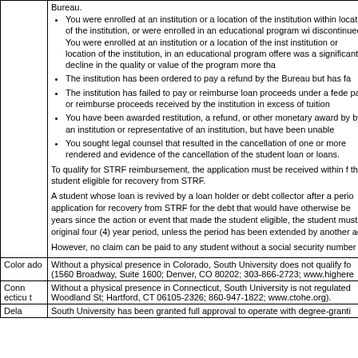You were enrolled at an institution or a location of the institution within location of the institution, or were enrolled in an educational program wi discontinued. You were enrolled at an institution or a location of the inst institution or location of the institution, in an educational program offere was a significant decline in the quality or value of the program more tha
The institution has been ordered to pay a refund by the Bureau but has fa
The institution has failed to pay or reimburse loan proceeds under a fede pay or reimburse proceeds received by the institution in excess of tuition
You have been awarded restitution, a refund, or other monetary award by by an institution or representative of an institution, but have been unable
You sought legal counsel that resulted in the cancellation of one or more rendered and evidence of the cancellation of the student loan or loans.
To qualify for STRF reimbursement, the application must be received within f the student eligible for recovery from STRF.
A student whose loan is revived by a loan holder or debt collector after a perio application for recovery from STRF for the debt that would have otherwise be years since the action or event that made the student eligible, the student must original four (4) year period, unless the period has been extended by another ac
However, no claim can be paid to any student without a social security number
| State | Content |
| --- | --- |
| Color ado | Without a physical presence in Colorado, South University does not qualify fo (1560 Broadway, Suite 1600; Denver, CO 80202; 303-866-2723; www.highere |
| Conn ecticu t | Without a physical presence in Connecticut, South University is not regulated Woodland St; Hartford, CT 06105-2326; 860-947-1822; www.ctohe.org). |
| Dela | South University has been granted full approval to operate with degree-granti |